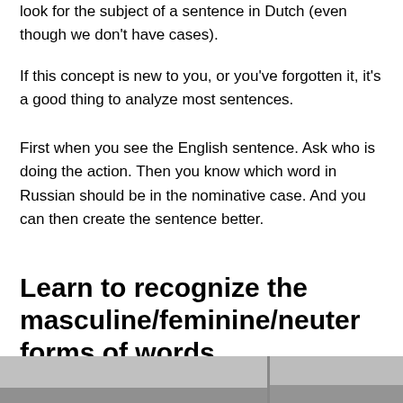look for the subject of a sentence in Dutch (even though we don't have cases).
If this concept is new to you, or you've forgotten it, it's a good thing to analyze most sentences.
First when you see the English sentence. Ask who is doing the action. Then you know which word in Russian should be in the nominative case. And you can then create the sentence better.
Learn to recognize the masculine/feminine/neuter forms of words
[Figure (photo): Photo of a room interior, split into two panels]